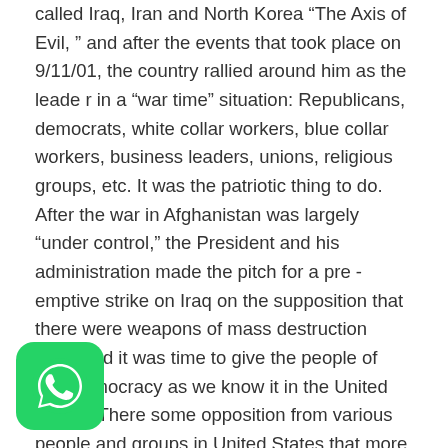called Iraq, Iran and North Korea “The Axis of Evil, ” and after the events that took place on 9/11/01, the country rallied around him as the leade r in a “war time” situation: Republicans, democrats, white collar workers, blue collar workers, business leaders, unions, religious groups, etc. It was the patriotic thing to do. After the war in Afghanistan was largely “under control,” the President and his administration made the pitch for a pre -emptive strike on Iraq on the supposition that there were weapons of mass destruction there and it was time to give the people of Iraq democracy as we know it in the United States. There some opposition from various people and groups in United States that more evidence that could be
[Figure (logo): WhatsApp logo icon — green rounded square background with white phone handset inside speech bubble]